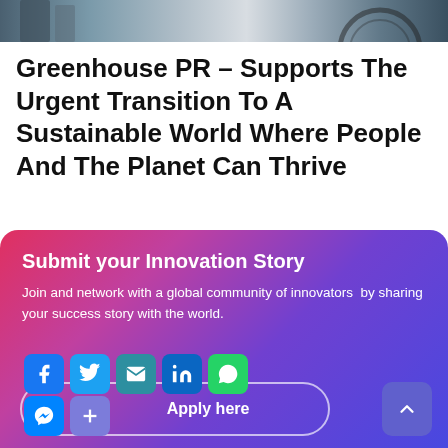[Figure (photo): Partial top strip of a photo showing people, including someone with a bicycle wheel visible, cropped at the top of the page.]
Greenhouse PR – Supports The Urgent Transition To A Sustainable World Where People And The Planet Can Thrive
Submit your Innovation Story
Join and network with a global community of innovators  by sharing your success story with the world.
Apply here